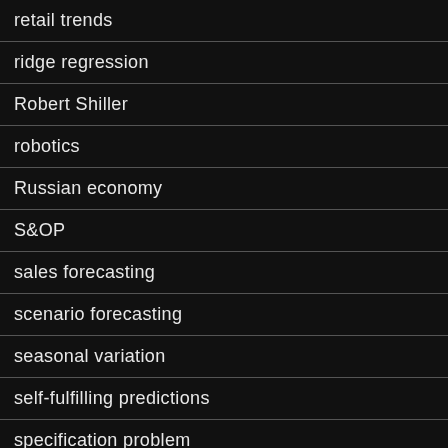retail trends
ridge regression
Robert Shiller
robotics
Russian economy
S&OP
sales forecasting
scenario forecasting
seasonal variation
self-fulfilling predictions
specification problem
stock market forecasts
stock trading algorithms